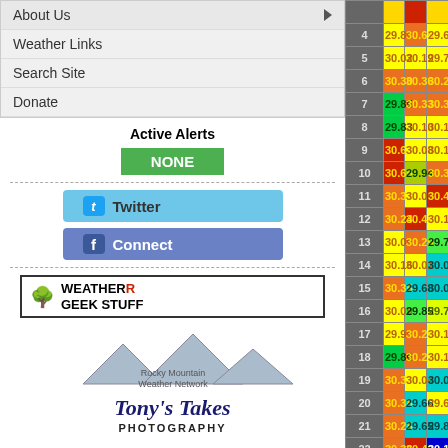About Us
Weather Links
Search Site
Donate
Active Alerts
NONE
[Figure (logo): Twitter button]
[Figure (logo): Facebook Connect button]
[Figure (logo): Weather Geek Stuff logo]
[Figure (logo): Rocky Mountain Weather Network logo with mountain silhouette]
[Figure (logo): Tony's Takes Photography logo]
| Row | Col1 | Col2 | Col3 |
| --- | --- | --- | --- |
| 4 | 29.88 | 30.65 | 29.61 |
| 5 | 30.02 | 30.19 | 29.77 |
| 6 | 30.30 | 30.36 | 30.23 |
| 7 | 29.85 | 30.33 | 30.39 |
| 8 | 29.83 | 30.10 | 30.11 |
| 9 | 30.63 | 30.08 | 30.10 |
| 10 | 30.69 | 29.94 | 30.36 |
| 11 | 30.31 | 30.09 | 30.41 |
| 12 | 30.24 | 30.46 | 30.13 |
| 13 | 30.09 | 30.29 | 29.75 |
| 14 | 30.16 | 30.01 | 30.05 |
| 15 | 30.35 | 29.68 | 30.01 |
| 16 | 30.09 | 29.85 | 29.77 |
| 17 | 29.95 | 30.29 | 30.10 |
| 18 | 29.86 | 30.27 | 30.12 |
| 19 | 30.32 | 30.04 | 30.01 |
| 20 | 30.38 | 29.66 | 29.67 |
| 21 | 30.28 | 29.65 | 29.88 |
| 22 | 30.36 | 30.42 | 30.18 |
| 23 | 30.16 | 30.50 | 30.11 |
| 24 | 29.98 | 30.35 | 29.95 |